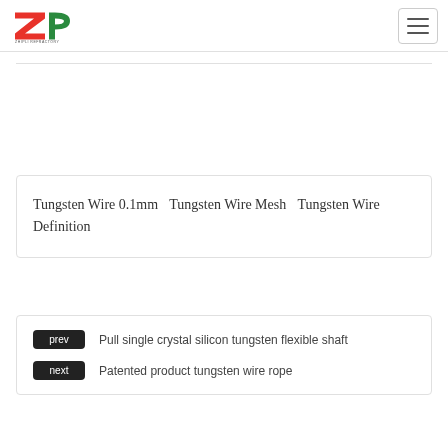Zhipli Refractory logo and navigation menu
Tungsten Wire 0.1mm   Tungsten Wire Mesh   Tungsten Wire Definition
prev  Pull single crystal silicon tungsten flexible shaft
next  Patented product tungsten wire rope